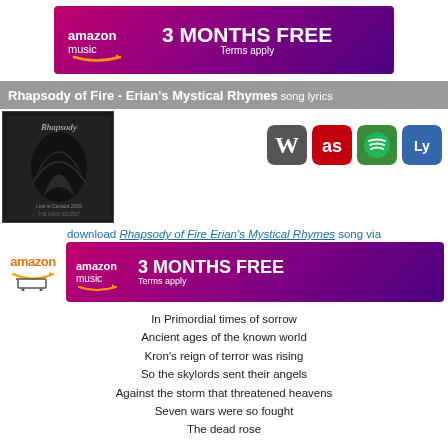[Figure (infographic): Amazon Music 3 Months Free banner ad, purple/pink gradient background]
Rhapsody of Fire - Erian's Mystical Rhymes song lyrics
[Figure (photo): Rhapsody album cover - Live in Canada 2005, The Dark Secret, dark image with tree/creature]
[Figure (infographic): Four app icons: Wikipedia (W), Last.fm (red), Spotify (green), lyrics wiki (blue)]
download Rhapsody of Fire Erian's Mystical Rhymes song via
[Figure (infographic): Amazon Music 3 Months Free banner, Terms apply. Amazon cart logo on the left.]
In Primordial times of sorrow
Ancient ages of the known world
Kron's reign of terror was rising
So the skylords sent their angels
Against the storm that threatened heavens
Seven wars were so fought
The dead rose